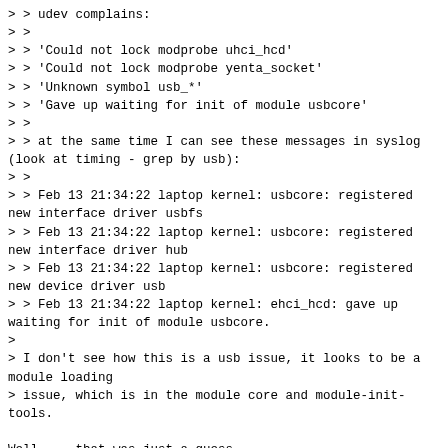> > udev complains:
> >
> > 'Could not lock modprobe uhci_hcd'
> > 'Could not lock modprobe yenta_socket'
> > 'Unknown symbol usb_*'
> > 'Gave up waiting for init of module usbcore'
> >
> > at the same time I can see these messages in syslog
(look at timing - grep by usb):
> >
> > Feb 13 21:34:22 laptop kernel: usbcore: registered
new interface driver usbfs
> > Feb 13 21:34:22 laptop kernel: usbcore: registered
new interface driver hub
> > Feb 13 21:34:22 laptop kernel: usbcore: registered
new device driver usb
> > Feb 13 21:34:22 laptop kernel: ehci_hcd: gave up
waiting for init of module usbcore.
>
> I don't see how this is a usb issue, it looks to be a
module loading
> issue, which is in the module core and module-init-
tools.

Well ... that was just a guess.

> What version of module-init-tools do you have, and
are you using an
> initramfs that loads these modules?  If so, what
distro and version are
> you using?